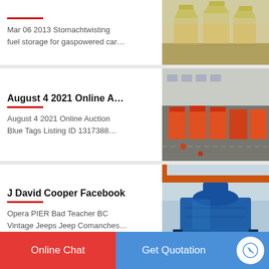Mar 06 2013 Stomachtwisting fuel storage for gaspowered car…
[Figure (photo): Industrial yellow cone crushers in a warehouse]
August 4 2021 Online A…
August 4 2021 Online Auction Blue Tags Listing ID 1317388…
[Figure (photo): Aerial view of orange containers and red trucks at a logistics facility]
J David Cooper Facebook
Opera PIER Bad Teacher BC Vintage Jeeps Jeep Comanches…
[Figure (photo): Blue industrial crusher machine on a platform]
Online Chat
Get Quotation